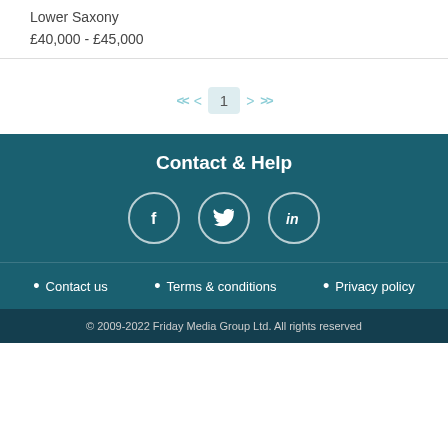Lower Saxony
£40,000 - £45,000
[Figure (infographic): Pagination controls showing << < 1 > >>]
Contact & Help
[Figure (infographic): Social media icons: Facebook, Twitter, LinkedIn in circular outlines]
Contact us
Terms & conditions
Privacy policy
© 2009-2022 Friday Media Group Ltd. All rights reserved